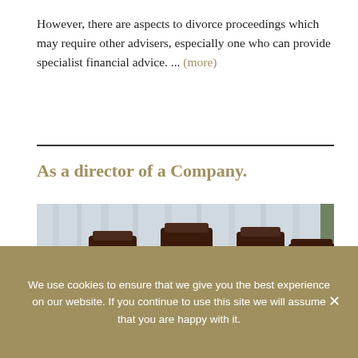However, there are aspects to divorce proceedings which may require other advisers, especially one who can provide specialist financial advice. ... (more)
[Figure (photo): Boardroom with a large wooden conference table surrounded by leather chairs, with curtains in the background and a plant visible on the right.]
As a director of a Company.
We use cookies to ensure that we give you the best experience on our website. If you continue to use this site we will assume that you are happy with it.